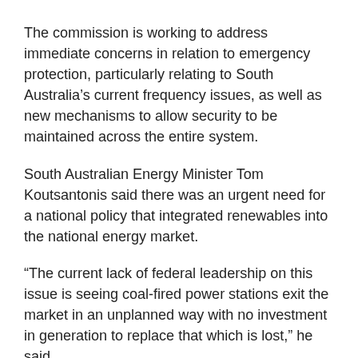The commission is working to address immediate concerns in relation to emergency protection, particularly relating to South Australia's current frequency issues, as well as new mechanisms to allow security to be maintained across the entire system.
South Australian Energy Minister Tom Koutsantonis said there was an urgent need for a national policy that integrated renewables into the national energy market.
“The current lack of federal leadership on this issue is seeing coal-fired power stations exit the market in an unplanned way with no investment in generation to replace that which is lost,” he said.
“The most efficient way to create a market incentive for more base-load generation is through an omissions...